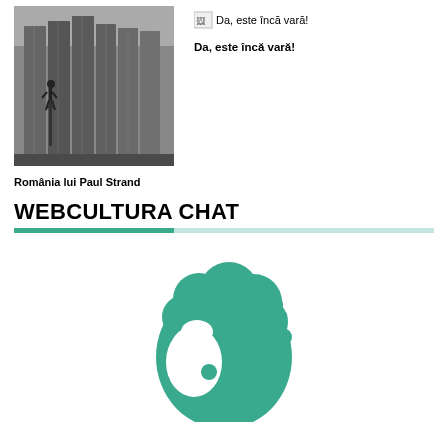[Figure (photo): Black and white photograph of large industrial grain silos or concrete structures, possibly a dam, with scaffolding visible. Romania lui Paul Strand style photography.]
România lui Paul Strand
[Figure (other): Broken image icon with alt text 'Da, este încă vară!']
Da, este încă vară!
WEBCULTURA CHAT
[Figure (illustration): Teal/green silhouette illustration of a person's head with curly hair, facing left.]